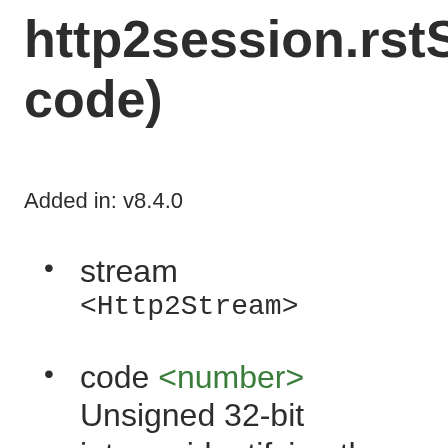http2session.rstStream(code)
Added in: v8.4.0
stream <Http2Stream>
code <number> Unsigned 32-bit integer identifying the error code. Default to...